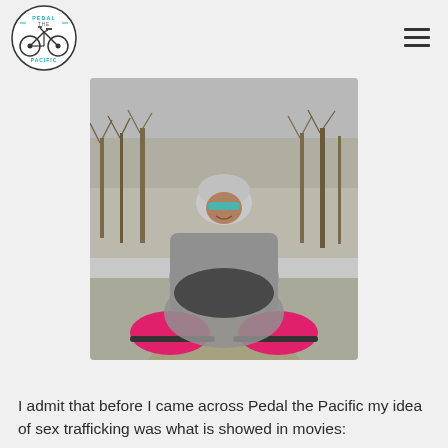[Figure (logo): Pedal the Pacific circular logo with bicycle imagery and teal/blue text]
[Figure (photo): A cyclist wearing a gray helmet, blue-tinted sunglasses, gray long-sleeve jersey and pink gloves takes a selfie while riding on a paved park path, bare trees visible in background]
I admit that before I came across Pedal the Pacific my idea of sex trafficking was what is showed in movies: